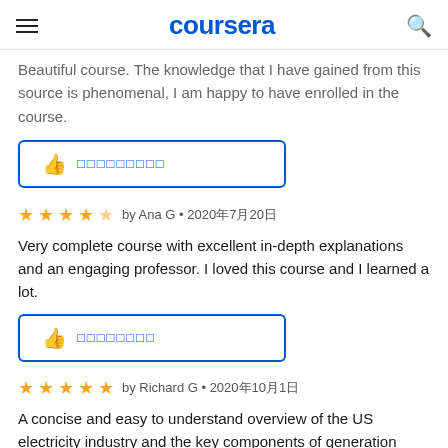coursera
Beautiful course. The knowledge that I have gained from this source is phenomenal, I am happy to have enrolled in the course.
[Figure (other): Helpful button with thumbs up icon and placeholder text (garbled unicode characters)]
by Ana G • 2020年7月20日
Very complete course with excellent in-depth explanations and an engaging professor. I loved this course and I learned a lot.
[Figure (other): Helpful button with thumbs up icon and placeholder text (garbled unicode characters)]
by Richard G • 2020年10月1日
A concise and easy to understand overview of the US electricity industry and the key components of generation